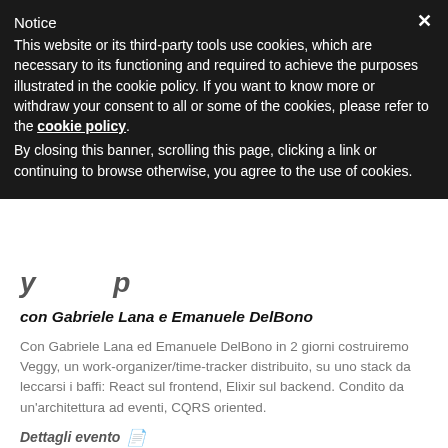Notice
This website or its third-party tools use cookies, which are necessary to its functioning and required to achieve the purposes illustrated in the cookie policy. If you want to know more or withdraw your consent to all or some of the cookies, please refer to the cookie policy. By closing this banner, scrolling this page, clicking a link or continuing to browse otherwise, you agree to the use of cookies.
con Gabriele Lana e Emanuele DelBono
Con Gabriele Lana ed Emanuele DelBono in 2 giorni costruiremo Veggy, un work-organizer/time-tracker distribuito, su uno stack da leccarsi i baffi: React sul frontend, Elixir sul backend. Condito da un'architettura ad eventi, CQRS oriented.
Dettagli evento
Ti interessa il workshop? Iscriviti alla waiting list!
Working Effectively with Legacy Code